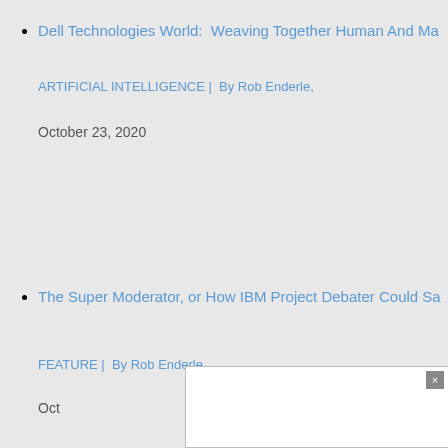Dell Technologies World: Weaving Together Human And Ma...
ARTIFICIAL INTELLIGENCE | By Rob Enderle,
October 23, 2020
The Super Moderator, or How IBM Project Debater Could Sa...
FEATURE | By Rob Enderle,
Oct